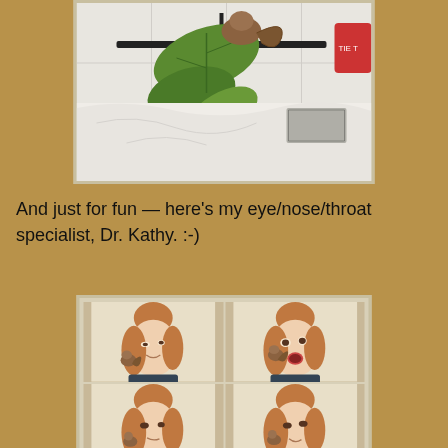[Figure (photo): A squirrel on a clothes hanger holding a large green leaf, with white clothing/fabric visible below, in what appears to be a bathroom or laundry area. Red container visible in upper right.]
And just for fun — here's my eye/nose/throat specialist, Dr. Kathy. :-)
[Figure (photo): A 2x2 grid of photos showing a young woman with reddish-brown hair in a bun, with a small squirrel on her shoulder/face. In the top-left she looks amused with the squirrel on her cheek; top-right she has her mouth wide open in surprise as the squirrel appears to be climbing toward her face; bottom two panels show similar interactions.]